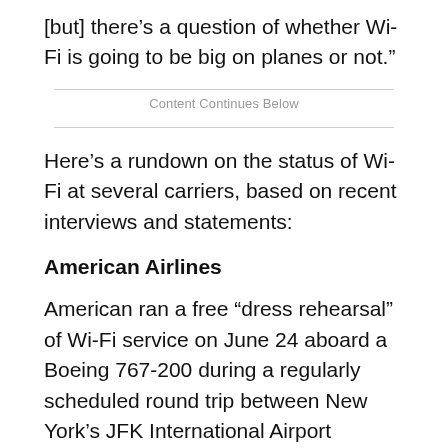[but] there’s a question of whether Wi-Fi is going to be big on planes or not.”
Content Continues Below
Here’s a rundown on the status of Wi-Fi at several carriers, based on recent interviews and statements:
American Airlines
American ran a free “dress rehearsal” of Wi-Fi service on June 24 aboard a Boeing 767-200 during a regularly scheduled round trip between New York’s JFK International Airport